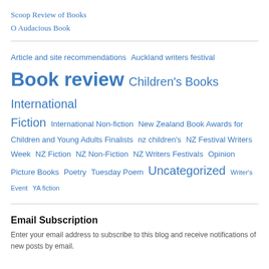Scoop Review of Books
O Audacious Book
[Figure (infographic): Tag cloud of blog categories including Book review (largest), Uncategorized, Children's Books, NZ Fiction, NZ Non-Fiction, NZ Writers Festivals, Opinion, Picture Books, Poetry, Tuesday Poem, YA fiction, International Fiction, International Non-fiction, NZ Festival Writers Week, Article and site recommendations, Auckland writers festival, New Zealand Book Awards for Children and Young Adults Finalists, nz children's, Writer's Event]
Email Subscription
Enter your email address to subscribe to this blog and receive notifications of new posts by email.